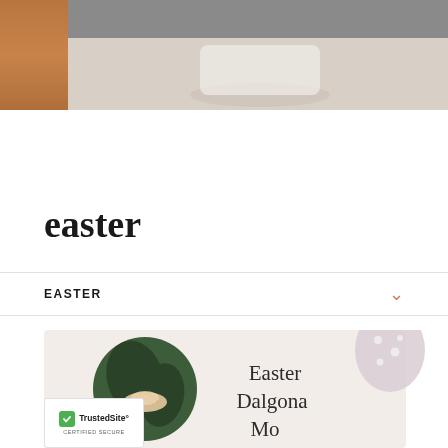[Figure (photo): Top banner image showing a coffee cup and wooden surface with a gray/neutral color bar overlay across the top portion]
easter
EASTER
[Figure (photo): Easter Dalgona Mocha recipe card with a circular image of a whipped coffee drink on a green background, with a polka-dotted Easter egg and text reading Easter Dalgona Mocha]
[Figure (logo): TrustedSite Certified Secure badge with green checkmark]